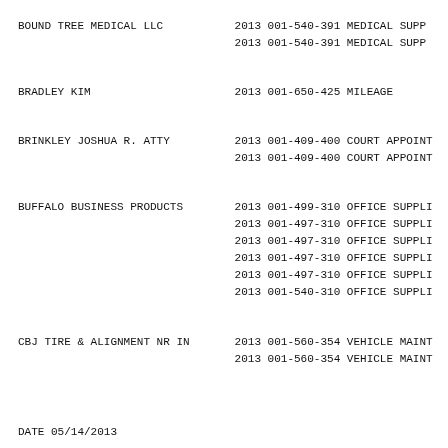| Vendor | Year | Account | Description |
| --- | --- | --- | --- |
| BOUND TREE MEDICAL LLC | 2013 | 001-540-391 | MEDICAL SUPP... |
|  | 2013 | 001-540-391 | MEDICAL SUPP... |
| BRADLEY KIM | 2013 | 001-650-425 | MILEAGE |
| BRINKLEY JOSHUA R. ATTY | 2013 | 001-409-400 | COURT APPOINT... |
|  | 2013 | 001-409-400 | COURT APPOINT... |
| BUFFALO BUSINESS PRODUCTS | 2013 | 001-499-310 | OFFICE SUPPLI... |
|  | 2013 | 001-497-310 | OFFICE SUPPLI... |
|  | 2013 | 001-497-310 | OFFICE SUPPLI... |
|  | 2013 | 001-497-310 | OFFICE SUPPLI... |
|  | 2013 | 001-497-310 | OFFICE SUPPLI... |
|  | 2013 | 001-540-310 | OFFICE SUPPLI... |
| CBJ TIRE & ALIGNMENT NR IN | 2013 | 001-560-354 | VEHICLE MAINT... |
|  | 2013 | 001-560-354 | VEHICLE MAINT... |
DATE 05/14/2013